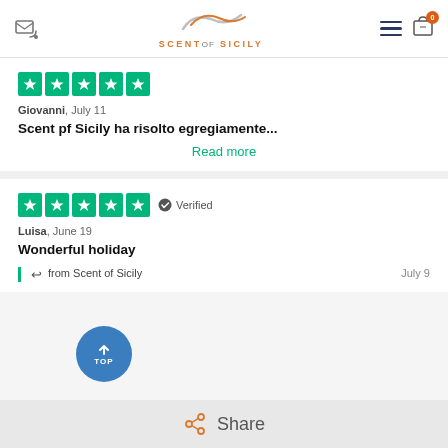Scent of Sicily website header with logo, menu icon and cart
[Figure (illustration): Five green Trustpilot star rating squares for Giovanni review]
Giovanni, July 11
Scent pf Sicily ha risolto egregiamente...
Read more
[Figure (illustration): Five green Trustpilot star rating squares with Verified badge for Luisa review]
Luisa, June 19
Wonderful holiday
from Scent of Sicily   July 9
Share